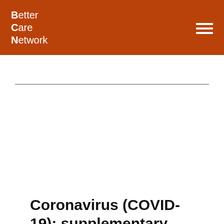Better Care Network
Coronavirus (COVID-19): supplementary national child protection guidance
[Figure (screenshot): Thumbnail preview of a Scottish Government letter regarding Coronavirus supplementary national child protection guidance, showing Scottish flag logo and letter text]